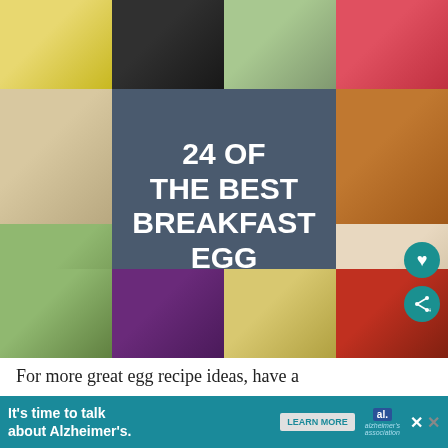[Figure (photo): Collage of 12 breakfast egg recipe food photos arranged in a 4x3 grid with a dark blue-gray overlay in the center containing the title text '24 OF THE BEST BREAKFAST EGG RECIPES']
24 OF THE BEST BREAKFAST EGG RECIPES
For more great egg recipe ideas, have a look
[Figure (infographic): Advertisement banner for Alzheimer's awareness: 'It's time to talk about Alzheimer's.' with LEARN MORE button and Alzheimer's Association logo]